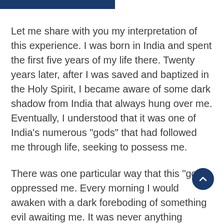Let me share with you my interpretation of this experience. I was born in India and spent the first five years of my life there. Twenty years later, after I was saved and baptized in the Holy Spirit, I became aware of some dark shadow from India that always hung over me. Eventually, I understood that it was one of India’s numerous “gods” that had followed me through life, seeking to possess me.
There was one particular way that this “god” oppressed me. Every morning I would awaken with a dark foreboding of something evil awaiting me. It was never anything precise, just some amorphous darkness. This unknown evil